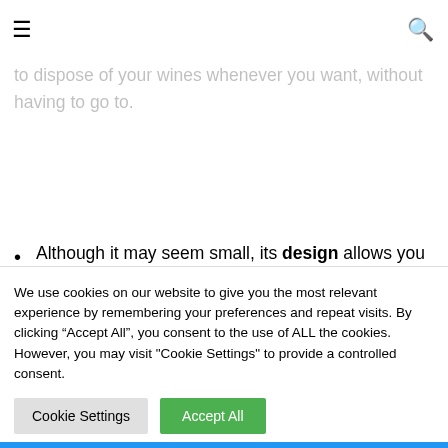same room as the wine cellar, on the contrary, it allows you to hold your settings near the wine cellar, to dispose of your wines whenever you want, without having to go to.
Although it may seem small, its design allows you to store up to 8 bottles without problems, at the same time that it has the ability to keep them cold even when they are at the top of their capacity, which makes it ideal for small events and family gatherings.
We use cookies on our website to give you the most relevant experience by remembering your preferences and repeat visits. By clicking “Accept All”, you consent to the use of ALL the cookies. However, you may visit "Cookie Settings" to provide a controlled consent.